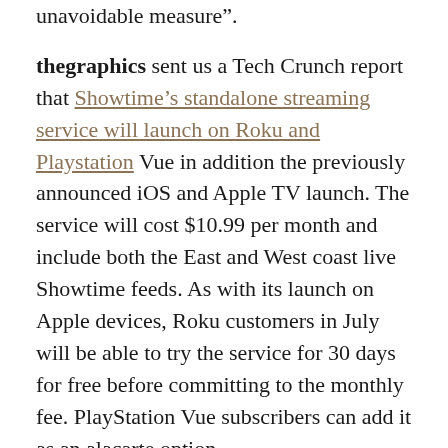unavoidable measure”.
thegraphics sent us a Tech Crunch report that Showtime’s standalone streaming service will launch on Roku and Playstation Vue in addition the previously announced iOS and Apple TV launch. The service will cost $10.99 per month and include both the East and West coast live Showtime feeds. As with its launch on Apple devices, Roku customers in July will be able to try the service for 30 days for free before committing to the monthly fee. PlayStation Vue subscribers can add it as an alacarte option.
Discussion Links:
http://arstechnica.com/apple/2015/06/apple-music-is-the-next-chapter-in-music/